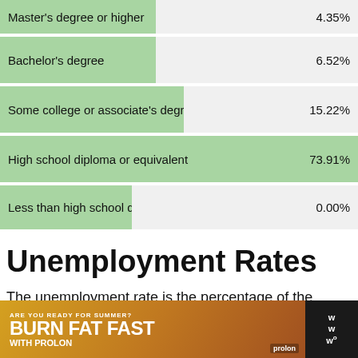| Education Level | Percentage |
| --- | --- |
| Master's degree or higher | 4.35% |
| Bachelor's degree | 6.52% |
| Some college or associate's degree | 15.22% |
| High school diploma or equivalent | 73.91% |
| Less than high school diploma | 0.00% |
Unemployment Rates
The unemployment rate is the percentage of the population that is actively looking for w... unemployment...
[Figure (photo): Advertisement banner at bottom: 'ARE YOU READY FOR SUMMER? BURN FAT FAST WITH PROLON' with image of woman in sunglasses]